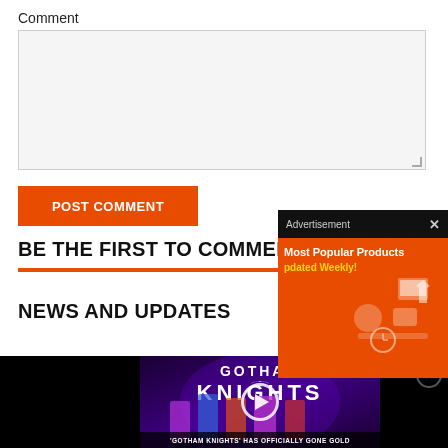Comment
[Figure (screenshot): Comment textarea input box with light gray background and resize handle]
[Figure (screenshot): POST COMMENT orange button]
BE THE FIRST TO COMMENT
NEWS AND UPDATES
[Figure (screenshot): Advertisement overlay with black top bar showing 'Advertisement' and close X, orange background with 'Most Popular Products' and 'Updated Weekly!' text and product icons]
[Figure (screenshot): Video player overlay showing Gotham Knights game promotional video with play button, characters, and subtitle 'GOTHAM KNIGHTS HAS OFFICIALLY GONE GOLD']